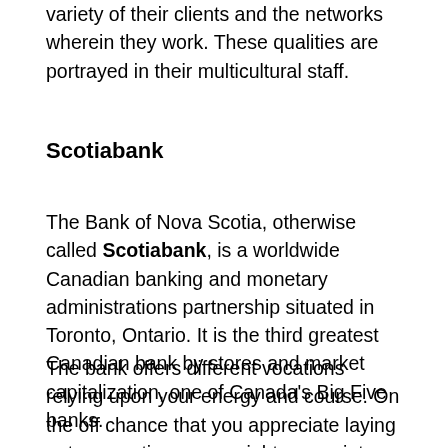variety of their clients and the networks wherein they work. These qualities are portrayed in their multicultural staff.
Scotiabank
The Bank of Nova Scotia, otherwise called Scotiabank, is a worldwide Canadian banking and monetary administrations partnership situated in Toronto, Ontario. It is the third greatest Canadian bank by stores and market capitalization, one of Canada's Big Five banks.
The bank offers different vocations relying upon your energy and course. On the off chance that you appreciate laying out connections, you might appreciate working in the Retail Banking group. Would you like to foster advanced encounters that are both